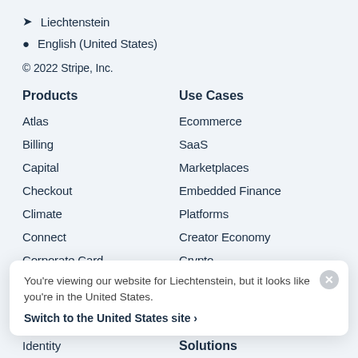Liechtenstein
English (United States)
© 2022 Stripe, Inc.
Products
Atlas
Billing
Capital
Checkout
Climate
Connect
Corporate Card
Use Cases
Ecommerce
SaaS
Marketplaces
Embedded Finance
Platforms
Creator Economy
Crypto
You're viewing our website for Liechtenstein, but it looks like you're in the United States.
Switch to the United States site ›
Identity
Solutions